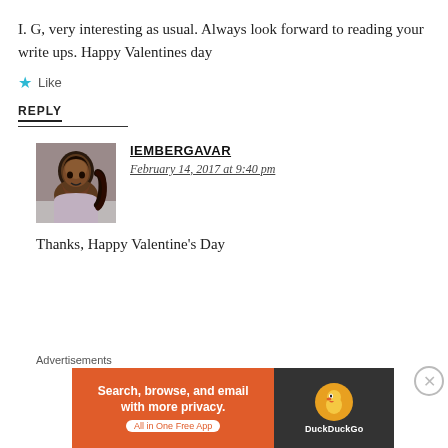I. G, very interesting as usual. Always look forward to reading your write ups. Happy Valentines day
★ Like
REPLY
[Figure (photo): Profile photo of a Black woman with long hair pulled back, smiling, wearing a light-colored top.]
IEMBERGAVAR
February 14, 2017 at 9:40 pm
Thanks, Happy Valentine's Day
[Figure (infographic): DuckDuckGo advertisement banner: orange left panel saying 'Search, browse, and email with more privacy. All in One Free App', dark right panel with DuckDuckGo duck logo.]
Advertisements